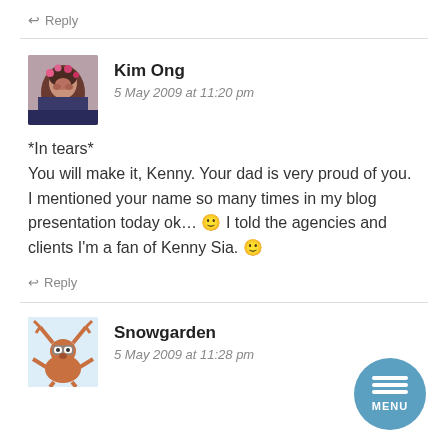↩ Reply
Kim Ong
5 May 2009 at 11:20 pm
*In tears*
You will make it, Kenny. Your dad is very proud of you. I mentioned your name so many times in my blog presentation today ok... 🙂 I told the agencies and clients I'm a fan of Kenny Sia. 🙂
↩ Reply
Snowgarden
5 May 2009 at 11:28 pm